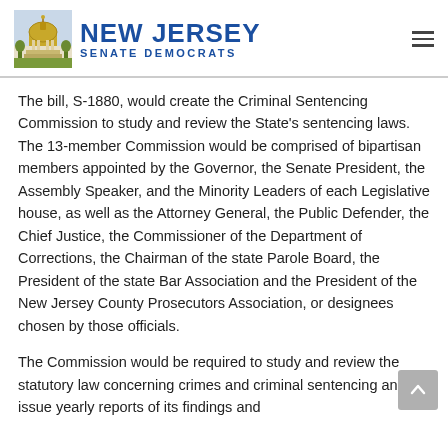NEW JERSEY SENATE DEMOCRATS
The bill, S-1880, would create the Criminal Sentencing Commission to study and review the State's sentencing laws. The 13-member Commission would be comprised of bipartisan members appointed by the Governor, the Senate President, the Assembly Speaker, and the Minority Leaders of each Legislative house, as well as the Attorney General, the Public Defender, the Chief Justice, the Commissioner of the Department of Corrections, the Chairman of the state Parole Board, the President of the state Bar Association and the President of the New Jersey County Prosecutors Association, or designees chosen by those officials.
The Commission would be required to study and review the statutory law concerning crimes and criminal sentencing and issue yearly reports of its findings and